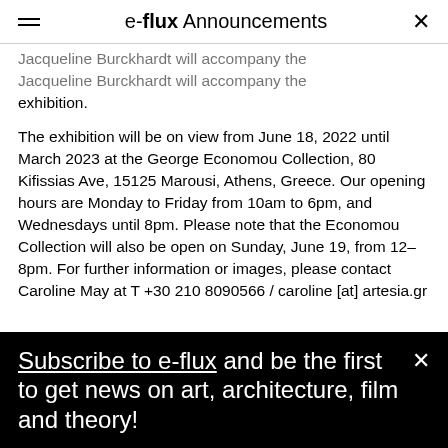e-flux Announcements
Jacqueline Burckhardt will accompany the exhibition.
The exhibition will be on view from June 18, 2022 until March 2023 at the George Economou Collection, 80 Kifissias Ave, 15125 Marousi, Athens, Greece. Our opening hours are Monday to Friday from 10am to 6pm, and Wednesdays until 8pm. Please note that the Economou Collection will also be open on Sunday, June 19, from 12–8pm. For further information or images, please contact Caroline May at T +30 210 8090566 / caroline [at] artesia.gr
Subscribe to e-flux and be the first to get news on art, architecture, film and theory!